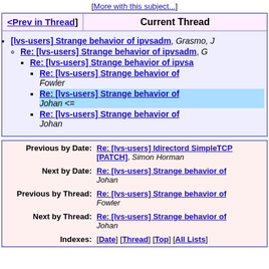[More with this subject...]
| <Prev in Thread] | Current Thread |
| --- | --- |
[lvs-users] Strange behavior of ipvsadm, Grasmo, J
Re: [lvs-users] Strange behavior of ipvsadm, G
Re: [lvs-users] Strange behavior of ipvsa
Re: [lvs-users] Strange behavior of, Fowler
Re: [lvs-users] Strange behavior of, Johan <=
Re: [lvs-users] Strange behavior of, Johan
|  |  |
| --- | --- |
| Previous by Date: | Re: [lvs-users] ldirectord SimpleTCP [PATCH], Simon Horman |
| Next by Date: | Re: [lvs-users] Strange behavior of, Johan |
| Previous by Thread: | Re: [lvs-users] Strange behavior of, Fowler |
| Next by Thread: | Re: [lvs-users] Strange behavior of, Johan |
| Indexes: | [Date] [Thread] [Top] [All Lists] |